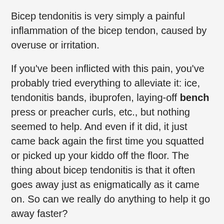Bicep tendonitis is very simply a painful inflammation of the bicep tendon, caused by overuse or irritation.
If you've been inflicted with this pain, you've probably tried everything to alleviate it: ice, tendonitis bands, ibuprofen, laying-off bench press or preacher curls, etc., but nothing seemed to help. And even if it did, it just came back again the first time you squatted or picked up your kiddo off the floor. The thing about bicep tendonitis is that it often goes away just as enigmatically as it came on. So can we really do anything to help it go away faster?
In short, yes.
I've trained thousands of people over the past 18 years, and developed a pretty large sample size to experiment with concerning dealing with bicep tendonitis. What we've come up with is a multi-step approach that mitigates not